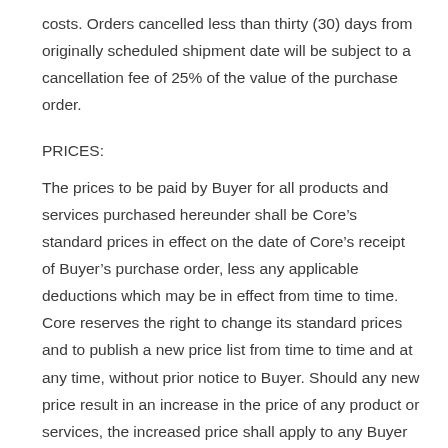costs. Orders cancelled less than thirty (30) days from originally scheduled shipment date will be subject to a cancellation fee of 25% of the value of the purchase order.
PRICES:
The prices to be paid by Buyer for all products and services purchased hereunder shall be Core’s standard prices in effect on the date of Core’s receipt of Buyer’s purchase order, less any applicable deductions which may be in effect from time to time. Core reserves the right to change its standard prices and to publish a new price list from time to time and at any time, without prior notice to Buyer. Should any new price result in an increase in the price of any product or services, the increased price shall apply to any Buyer order placed after the effective date of the new price.